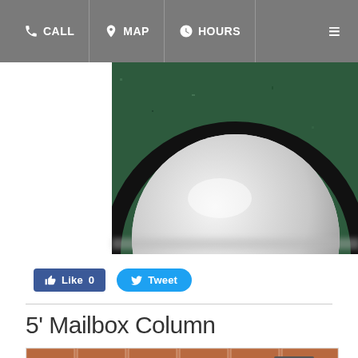CALL  MAP  HOURS
[Figure (photo): Close-up of a round stone or granite sphere resting on a green granite base, viewed from above]
[Figure (other): Facebook Like button with count 0 and Twitter Tweet button]
5' Mailbox Column
[Figure (photo): Photo of a stone mailbox column with textured white/gray stone surface and brick background]